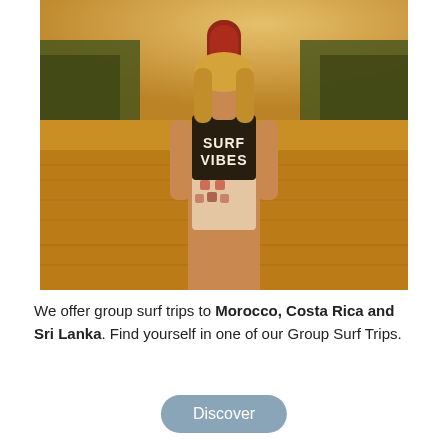[Figure (photo): A woman wearing a black crop top that reads 'SURF VIBES' in white letters, standing in a golden wheat field holding a red surfboard vertically in front of her. Trees are visible in the background. The lighting is warm and golden.]
We offer group surf trips to Morocco, Costa Rica and Sri Lanka. Find yourself in one of our Group Surf Trips.
Discover